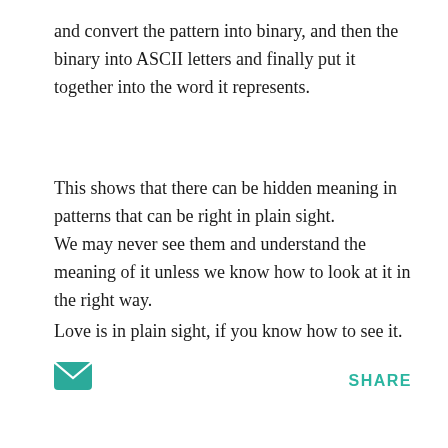and convert the pattern into binary, and then the binary into ASCII letters and finally put it together into the word it represents.
This shows that there can be hidden meaning in patterns that can be right in plain sight.
We may never see them and understand the meaning of it unless we know how to look at it in the right way.
Love is in plain sight, if you know how to see it.
-Ziv
[Figure (illustration): Teal/green envelope icon (email icon)]
SHARE